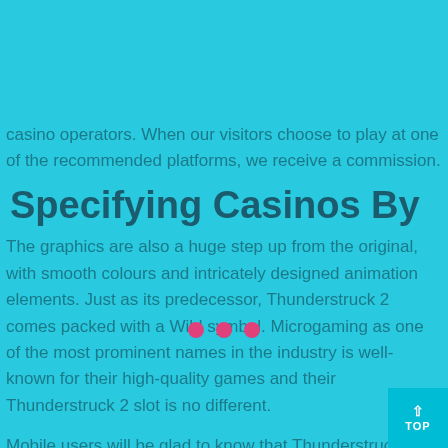+91 9436732863
casino operators. When our visitors choose to play at one of the recommended platforms, we receive a commission.
Specifying Casinos By
The graphics are also a huge step up from the original, with smooth colours and intricately designed animation elements. Just as its predecessor, Thunderstruck 2 comes packed with a Wild symbol. Microgaming as one of the most prominent names in the industry is well-known for their high-quality games and their Thunderstruck 2 slot is no different.
Mobile users will be glad to know that Thunderstruck is available among mobile slots no deposit no download games. Choose the